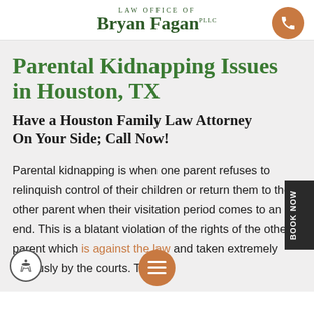LAW OFFICE OF Bryan Fagan PLLC
Parental Kidnapping Issues in Houston, TX
Have a Houston Family Law Attorney On Your Side; Call Now!
Parental kidnapping is when one parent refuses to relinquish control of their children or return them to the other parent when their visitation period comes to an end. This is a blatant violation of the rights of the other parent which is against the law and taken extremely seriously by the courts. The